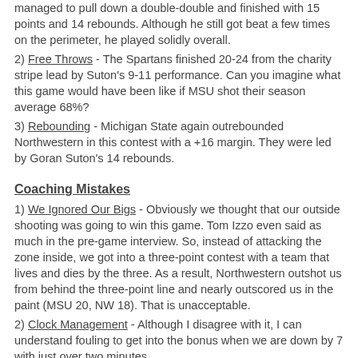managed to pull down a double-double and finished with 15 points and 14 rebounds. Although he still got beat a few times on the perimeter, he played solidly overall.
2) Free Throws - The Spartans finished 20-24 from the charity stripe lead by Suton's 9-11 performance. Can you imagine what this game would have been like if MSU shot their season average 68%?
3) Rebounding - Michigan State again outrebounded Northwestern in this contest with a +16 margin. They were led by Goran Suton's 14 rebounds.
Coaching Mistakes
1) We Ignored Our Bigs - Obviously we thought that our outside shooting was going to win this game. Tom Izzo even said as much in the pre-game interview. So, instead of attacking the zone inside, we got into a three-point contest with a team that lives and dies by the three. As a result, Northwestern outshot us from behind the three-point line and nearly outscored us in the paint (MSU 20, NW 18). That is unacceptable.
2) Clock Management - Although I disagree with it, I can understand fouling to get into the bonus when we are down by 7 with just over two minutes...